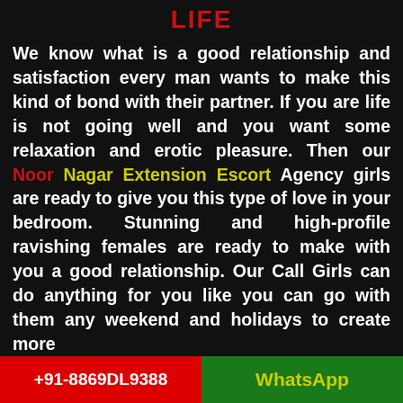LIFE
We know what is a good relationship and satisfaction every man wants to make this kind of bond with their partner. If you are life is not going well and you want some relaxation and erotic pleasure. Then our Noor Nagar Extension Escort Agency girls are ready to give you this type of love in your bedroom. Stunning and high-profile ravishing females are ready to make with you a good relationship. Our Call Girls can do anything for you like you can go with them any weekend and holidays to create more
+91-8869DL9388   WhatsApp